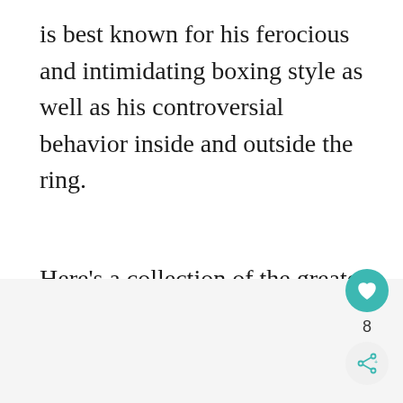is best known for his ferocious and intimidating boxing style as well as his controversial behavior inside and outside the ring.
Here's a collection of the greatest Mike Tyson quotes: